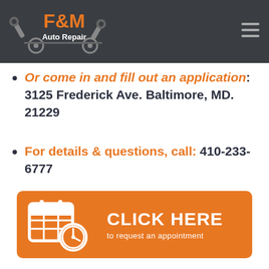F&M Auto Repair
Or come in and fill out an application: 3125 Frederick Ave. Baltimore, MD. 21229
For details & questions, call: 410-233-6777
[Figure (infographic): Orange button with calendar/clock icon and text CLICK HERE to request an appointment]